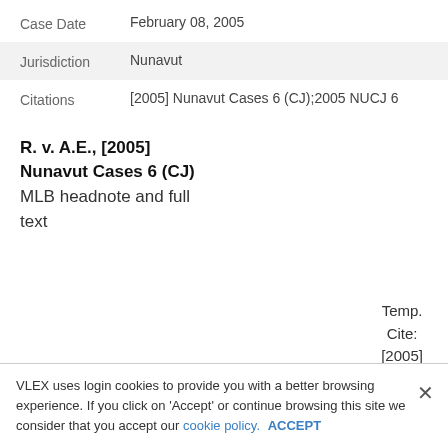| Field | Value |
| --- | --- |
| Case Date | February 08, 2005 |
| Jurisdiction | Nunavut |
| Citations | [2005] Nunavut Cases 6 (CJ);2005 NUCJ 6 |
R. v. A.E., [2005] Nunavut Cases 6 (CJ)
MLB headnote and full text
Temp. Cite: [2005] Nunavut Cases TBEd. FE.077
VLEX uses login cookies to provide you with a better browsing experience. If you click on 'Accept' or continue browsing this site we consider that you accept our cookie policy. ACCEPT